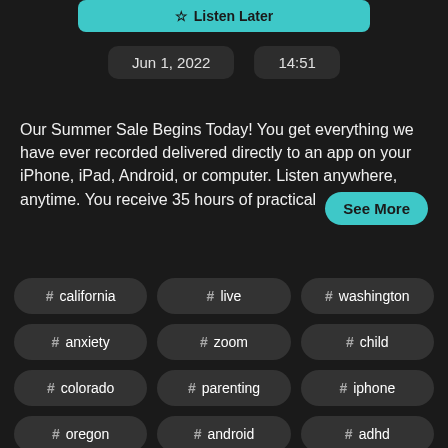[Figure (screenshot): Partially visible 'Listen Later' button in teal/cyan color at the top of a podcast app UI]
Jun 1, 2022   14:51
Our Summer Sale Begins Today! You get everything we have ever recorded delivered directly to an app on your iPhone, iPad, Android, or computer. Listen anywhere, anytime. You receive 35 hours of practical
See More
# california   # live   # washington
# anxiety   # zoom   # child
# colorado   # parenting   # iphone
# oregon   # android   # adhd